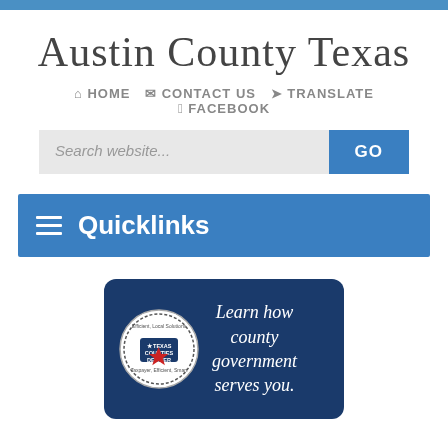Austin County Texas
HOME  CONTACT US  TRANSLATE  FACEBOOK
[Figure (screenshot): Search bar with 'Search website...' placeholder and blue GO button]
Quicklinks
[Figure (infographic): Texas Counties Deliver badge with text 'Learn how county government serves you.']